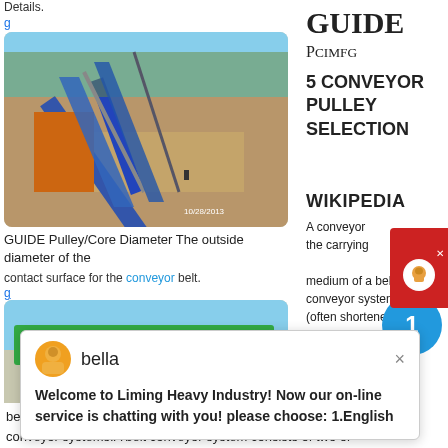Details.
g
[Figure (photo): Aerial view of industrial conveyor belt system at a mining or quarrying site with blue conveyor belts and orange structure. Timestamp 10/28/2013.]
GUIDE
PCIMFG
5 CONVEYOR PULLEY SELECTION
GUIDE Pulley/Core Diameter The outside diameter of the
contact surface for the conveyor belt.
g
[Figure (photo): Green and yellow industrial conveyor/screening machine on a construction site with red soil ground.]
WIKIPEDIA
A conveyor the carrying medium of a belt conveyor system (often shortened to belt conveyor). A belt conveyor system is one of many types of conveyor systems.A belt conveyor system consists of two or